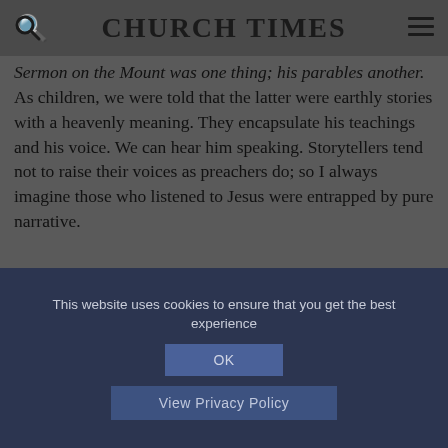CHURCH TIMES
Sermon on the Mount was one thing; his parables another. As children, we were told that the latter were earthly stories with a heavenly meaning. They encapsulate his teachings and his voice. We can hear him speaking. Storytellers tend not to raise their voices as preachers do; so I always imagine those who listened to Jesus were entrapped by pure narrative.
[Figure (infographic): Social sharing buttons: Facebook (dark blue circle), Twitter (teal blue circle), share/link (dark grey circle), email (dark grey circle), plus/more (dark red circle)]
OTHER STORIES
This website uses cookies to ensure that you get the best experience
OK
View Privacy Policy